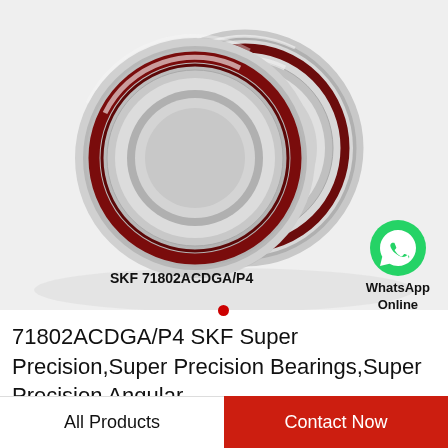[Figure (photo): Two SKF 71802ACDGA/P4 super precision angular contact bearings shown side by side, metallic silver with dark red seals, on a white/light grey background. Label 'SKF 71802ACDGA/P4' overlaid on the image. WhatsApp Online badge in top-right area of photo.]
71802ACDGA/P4 SKF Super Precision,Super Precision Bearings,Super Precision Angular…
All Products
Contact Now